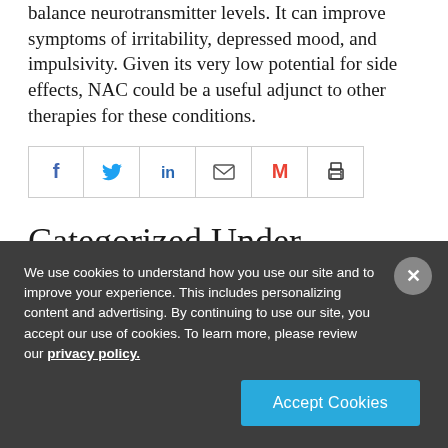balance neurotransmitter levels. It can improve symptoms of irritability, depressed mood, and impulsivity. Given its very low potential for side effects, NAC could be a useful adjunct to other therapies for these conditions.
[Figure (other): Social sharing buttons row: Facebook, Twitter, LinkedIn, Email, Gmail, Print]
Categorized Under
We use cookies to understand how you use our site and to improve your experience. This includes personalizing content and advertising. By continuing to use our site, you accept our use of cookies. To learn more, please review our privacy policy.